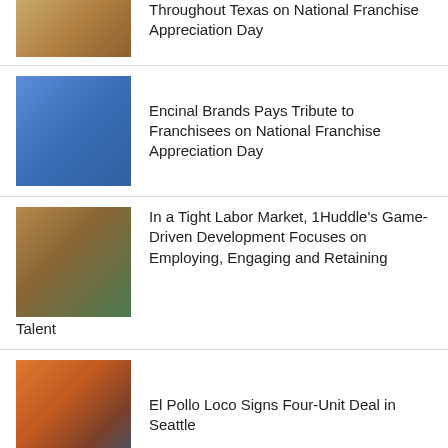Throughout Texas on National Franchise Appreciation Day
Encinal Brands Pays Tribute to Franchisees on National Franchise Appreciation Day
In a Tight Labor Market, 1Huddle's Game-Driven Development Focuses on Employing, Engaging and Retaining Talent
El Pollo Loco Signs Four-Unit Deal in Seattle
Sweet Paris Crêperie Expands Midwest Presence with Multi-Unit Deal in Minnesota
The Red Chickz to Sponsor the 10th Annual ESPN LA Golf Classic